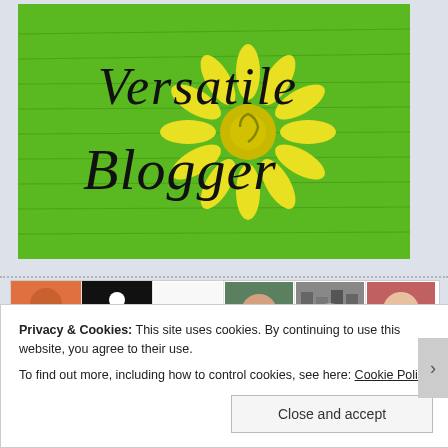[Figure (illustration): Versatile Blogger award badge — green background with handwriting texture, yellow flower design, text reads 'Versatile Blogger' in decorative black font]
[Figure (other): Grid of follower/following profile avatars arranged in two rows of six thumbnails each, showing various people, logos, and images]
Privacy & Cookies: This site uses cookies. By continuing to use this website, you agree to their use.
To find out more, including how to control cookies, see here: Cookie Policy
Close and accept